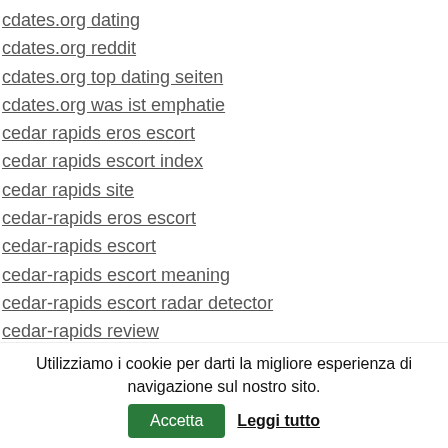cdates.org dating
cdates.org reddit
cdates.org top dating seiten
cdates.org was ist emphatie
cedar rapids eros escort
cedar rapids escort index
cedar rapids site
cedar-rapids eros escort
cedar-rapids escort
cedar-rapids escort meaning
cedar-rapids escort radar detector
cedar-rapids review
celibataires locaux gay
celibataires locaux site de rencontreВ gayВ sans inscription
Celibataires Locaux visiteurs
celibataires-locaux connexion
Utilizziamo i cookie per darti la migliore esperienza di navigazione sul nostro sito. Accetta Leggi tutto